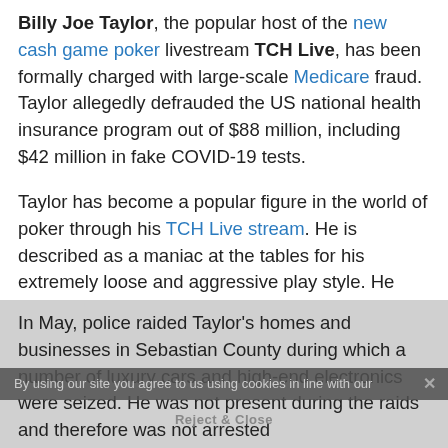Billy Joe Taylor, the popular host of the new cash game poker livestream TCH Live, has been formally charged with large-scale Medicare fraud. Taylor allegedly defrauded the US national health insurance program out of $88 million, including $42 million in fake COVID-19 tests.
Taylor has become a popular figure in the world of poker through his TCH Live stream. He is described as a maniac at the tables for his extremely loose and aggressive play style. He plays as if he is on a spending spree, and just gets on with it, win or lose.
For those who have been wondering where he gets his money from to be able to sustain such game style, the Department of Justice (DOJ) believes the poker player is involved in a massive COVID-19 insurance fraud.
In May, police raided Taylor's homes and businesses in Sebastian County during which a number of luxury cars and high-end electronics were seized. He was not present during the raids and therefore was not arrested